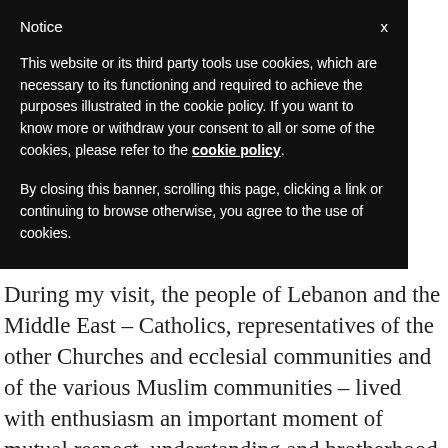Notice
This website or its third party tools use cookies, which are necessary to its functioning and required to achieve the purposes illustrated in the cookie policy. If you want to know more or withdraw your consent to all or some of the cookies, please refer to the cookie policy.
By closing this banner, scrolling this page, clicking a link or continuing to browse otherwise, you agree to the use of cookies.
During my visit, the people of Lebanon and the Middle East – Catholics, representatives of the other Churches and ecclesial communities and of the various Muslim communities – lived with enthusiasm an important moment of mutual respect, understanding and brotherhood in a relaxed and constructive atmosphere, which constitutes a powerful sign of hope for all